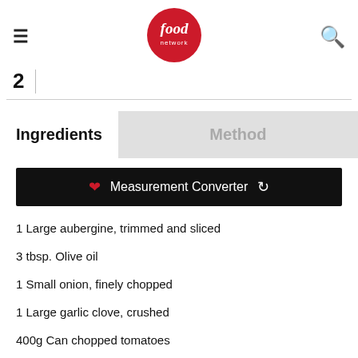[Figure (logo): Food Network logo — red circle with 'food network' in white script text]
2
Ingredients
Method
Measurement Converter
1 Large aubergine, trimmed and sliced
3 tbsp. Olive oil
1 Small onion, finely chopped
1 Large garlic clove, crushed
400g Can chopped tomatoes